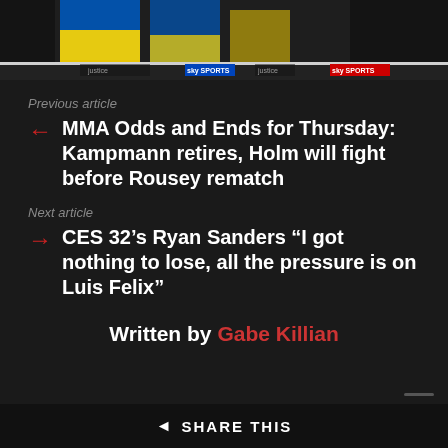[Figure (photo): Top portion of a boxing/sports event photo showing a boxing ring with Ukrainian flags and Sky Sports branding banners]
Previous article
← MMA Odds and Ends for Thursday: Kampmann retires, Holm will fight before Rousey rematch
Next article
→ CES 32's Ryan Sanders "I got nothing to lose, all the pressure is on Luis Felix"
Written by Gabe Killian
◄ SHARE THIS